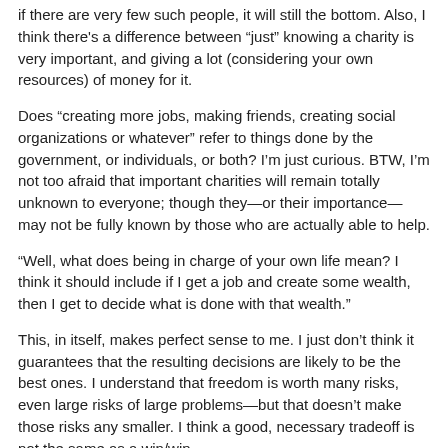if there are very few such people, it will still the bottom. Also, I think there's a difference between “just” knowing a charity is very important, and giving a lot (considering your own resources) of money for it.
Does “creating more jobs, making friends, creating social organizations or whatever” refer to things done by the government, or individuals, or both? I’m just curious. BTW, I’m not too afraid that important charities will remain totally unknown to everyone; though they—or their importance—may not be fully known by those who are actually able to help.
“Well, what does being in charge of your own life mean? I think it should include if I get a job and create some wealth, then I get to decide what is done with that wealth.”
This, in itself, makes perfect sense to me. I just don’t think it guarantees that the resulting decisions are likely to be the best ones. I understand that freedom is worth many risks, even large risks of large problems—but that doesn’t make those risks any smaller. I think a good, necessary tradeoff is not the same as a win/win.
No, people who don’t give to charity are not murderers. (This situation has also been compared to not saving a drowning person when you can do so relatively easily.) Though now I’ll ask: are people who can’t help themselves responsible for their own lives? I know